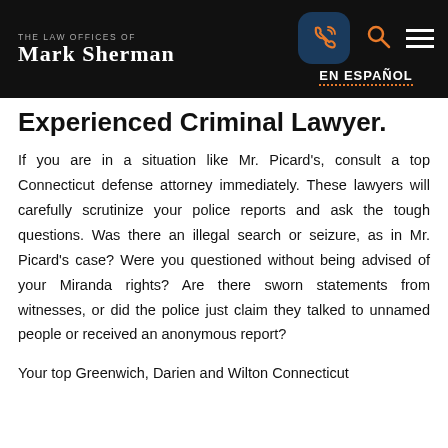THE LAW OFFICES OF MARK SHERMAN | EN ESPAÑOL
Experienced Criminal Lawyer.
If you are in a situation like Mr. Picard's, consult a top Connecticut defense attorney immediately. These lawyers will carefully scrutinize your police reports and ask the tough questions. Was there an illegal search or seizure, as in Mr. Picard's case? Were you questioned without being advised of your Miranda rights? Are there sworn statements from witnesses, or did the police just claim they talked to unnamed people or received an anonymous report?
Your top Greenwich, Darien and Wilton Connecticut